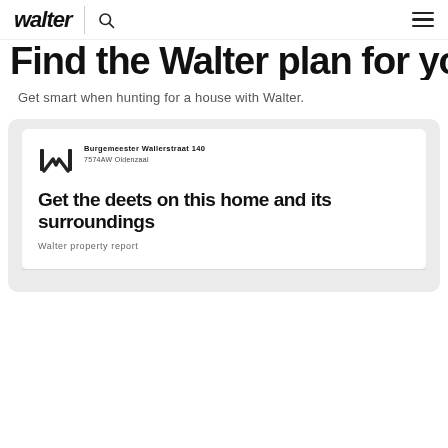walter | search menu
Find the Walter plan for you.
Get smart when hunting for a house with Walter.
[Figure (screenshot): Walter property report card showing logo, address 'Burgemeester Wallerstraat 140, 7574AW Oldenzaal', headline 'Get the deets on this home and its surroundings', and subtitle 'Walter property report']